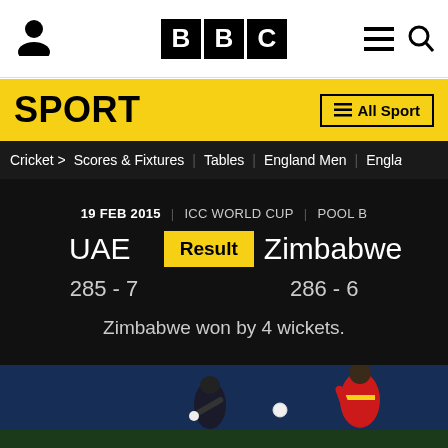BBC Sport
SPORT
Cricket > Scores & Fixtures | Tables | England Men | Engla
19 FEB 2015 | ICC WORLD CUP | POOL B
UAE Result Zimbabwe
285 - 7        286 - 6
Zimbabwe won by 4 wickets.
[Figure (photo): Cricket match photo showing a UAE batsman playing a shot with a Zimbabwe bowler in red and yellow kit in the foreground, against a dark blue night sky background]